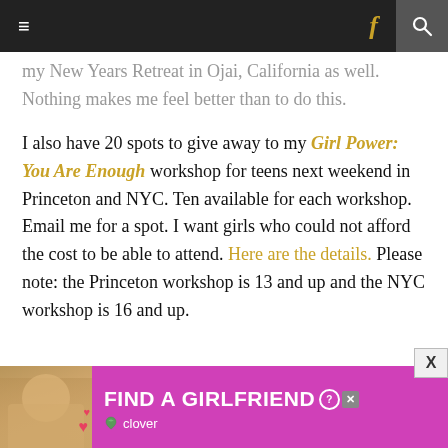Navigation bar with hamburger menu, Facebook icon, and search icon
my New Years Retreat in Ojai, California as well. Nothing makes me feel better than to do this.

I also have 20 spots to give away to my Girl Power: You Are Enough workshop for teens next weekend in Princeton and NYC. Ten available for each workshop. Email me for a spot. I want girls who could not afford the cost to be able to attend. Here are the details. Please note: the Princeton workshop is 13 and up and the NYC workshop is 16 and up.
[Figure (photo): Advertisement banner: 'FIND A GIRLFRIEND' with Clover app branding on pink/magenta background, with a woman's photo on the left]